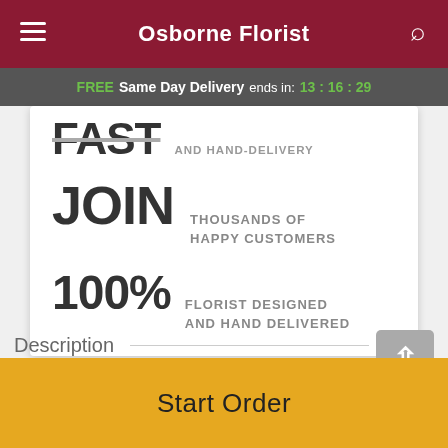Osborne Florist
FREE Same Day Delivery ends in: 13:16:29
FAST AND HAND-DELIVERY
JOIN THOUSANDS OF HAPPY CUSTOMERS
100% FLORIST DESIGNED AND HAND DELIVERED
Description
Light a fire in their heart with a bouquet bursting with life and color. Bold, vibrant, and ready to impress, these
Start Order